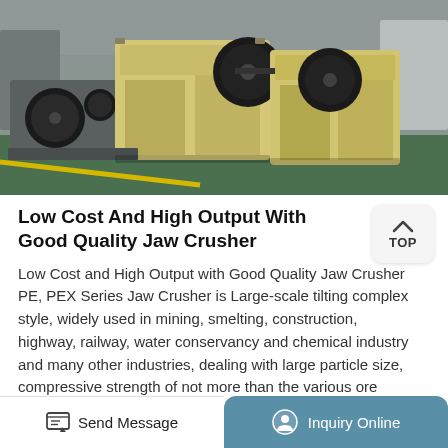[Figure (photo): Industrial jaw crushers (yellow/cream colored heavy machinery) on a factory floor with green painted concrete ground and yellow line markings]
Low Cost And High Output With Good Quality Jaw Crusher
Low Cost and High Output with Good Quality Jaw Crusher PE, PEX Series Jaw Crusher is Large-scale tilting complex style, widely used in mining, smelting, construction, highway, railway, water conservancy and chemical industry and many other industries, dealing with large particle size, compressive strength of not more than the various ore 320Mpa and the rough rocks